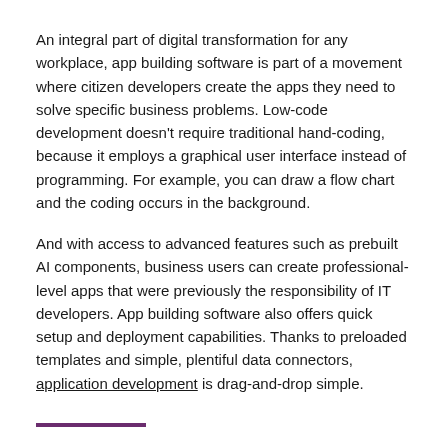An integral part of digital transformation for any workplace, app building software is part of a movement where citizen developers create the apps they need to solve specific business problems. Low-code development doesn't require traditional hand-coding, because it employs a graphical user interface instead of programming. For example, you can draw a flow chart and the coding occurs in the background.
And with access to advanced features such as prebuilt AI components, business users can create professional-level apps that were previously the responsibility of IT developers. App building software also offers quick setup and deployment capabilities. Thanks to preloaded templates and simple, plentiful data connectors, application development is drag-and-drop simple.
Why build business apps?